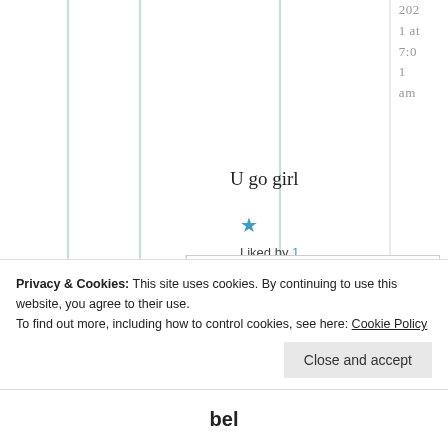2021 at 7:01 am
U go girl
★ Liked by 1 person
Privacy & Cookies: This site uses cookies. By continuing to use this website, you agree to their use. To find out more, including how to control cookies, see here: Cookie Policy
Close and accept
bel